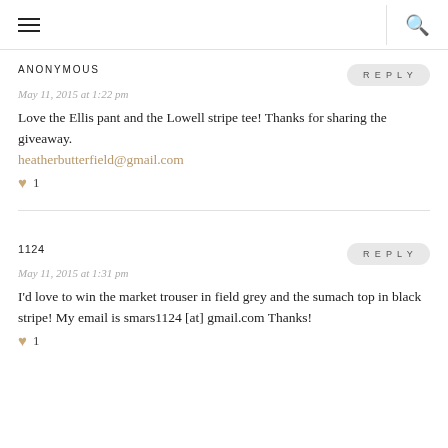☰ 🔍
ANONYMOUS
May 11, 2015 at 1:22 pm
Love the Ellis pant and the Lowell stripe tee! Thanks for sharing the giveaway. heatherbutterfield@gmail.com
♥ 1
1124
May 11, 2015 at 1:31 pm
I'd love to win the market trouser in field grey and the sumach top in black stripe! My email is smars1124 [at] gmail.com Thanks!
♥ 1